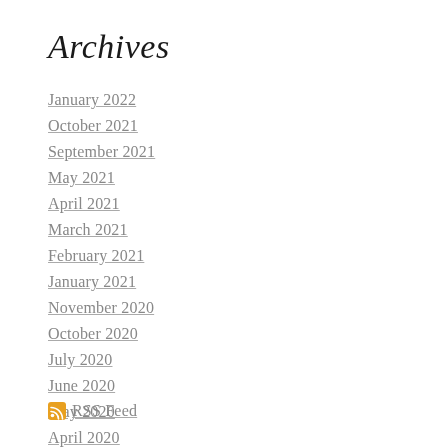Archives
January 2022
October 2021
September 2021
May 2021
April 2021
March 2021
February 2021
January 2021
November 2020
October 2020
July 2020
June 2020
May 2020
April 2020
RSS Feed